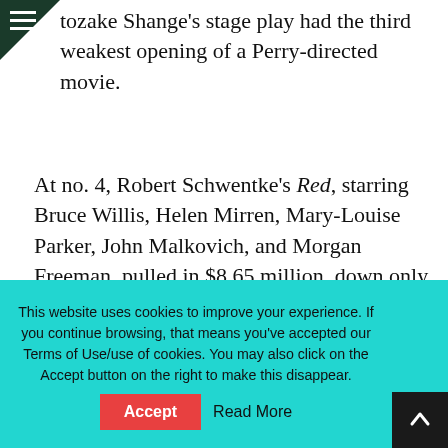tozake Shange’s stage play had the third weakest opening of a Perry-directed movie.
At no. 4, Robert Schwentke’s Red, starring Bruce Willis, Helen Mirren, Mary-Louise Parker, John Malkovich, and Morgan Freeman, pulled in $8.65 million, down only 19.4 percent.
At no. 5, the horror flick Saw 3D, featuring Tobin Bell, Cary Elwes, Betsy Russell, and Sean Patrick
This website uses cookies to improve your experience. If you continue browsing, that means you’ve accepted our Terms of Use/use of cookies. You may also click on the Accept button on the right to make this disappear.